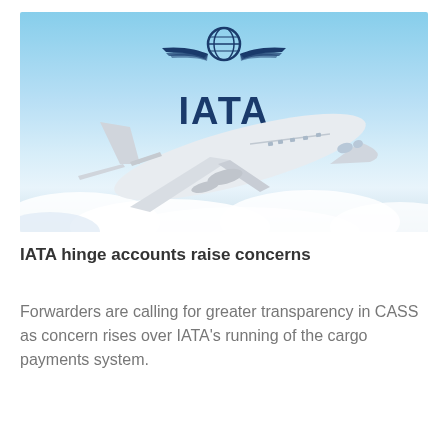[Figure (photo): IATA logo with wings above a white commercial airplane flying through blue sky with clouds below]
IATA hinge accounts raise concerns
Forwarders are calling for greater transparency in CASS as concern rises over IATA's running of the cargo payments system.